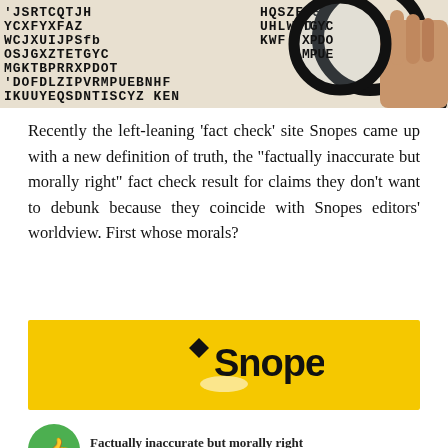[Figure (photo): Word search puzzle with random letters and a hand holding a magnifying glass over it]
Recently the left-leaning 'fact check' site Snopes came up with a new definition of truth, the "factually inaccurate but morally right" fact check result for claims they don't want to debunk because they coincide with Snopes editors' worldview. First whose morals?
[Figure (logo): Snopes logo on yellow background with black diamond and text]
[Figure (infographic): Green circle with thumbs up icon and text 'Factually inaccurate but morally right']